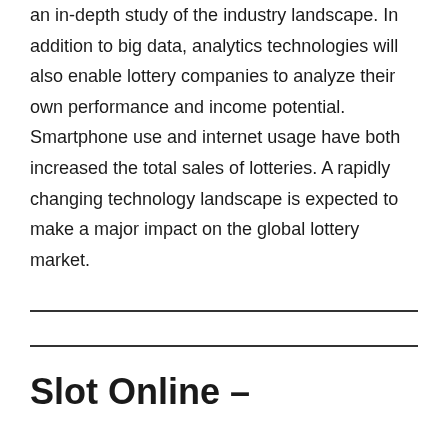an in-depth study of the industry landscape. In addition to big data, analytics technologies will also enable lottery companies to analyze their own performance and income potential. Smartphone use and internet usage have both increased the total sales of lotteries. A rapidly changing technology landscape is expected to make a major impact on the global lottery market.
Slot Online –